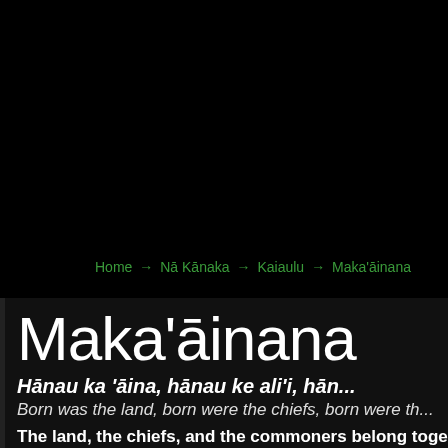Home → Nā Kānaka → Kaiaulu → Maka'āinana
Maka'āinana
Hānau ka 'āina, hānau ke ali'i, hāna...
Born was the land, born were the chiefs, born were the...
The land, the chiefs, and the commoners belong toge...